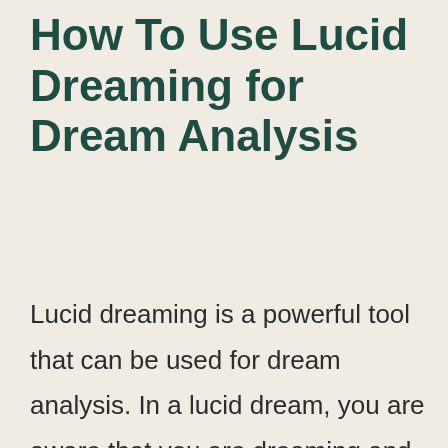How To Use Lucid Dreaming for Dream Analysis
Lucid dreaming is a powerful tool that can be used for dream analysis. In a lucid dream, you are aware that you are dreaming and can often control the dream content. This allows you to explore your dreamscape in a more